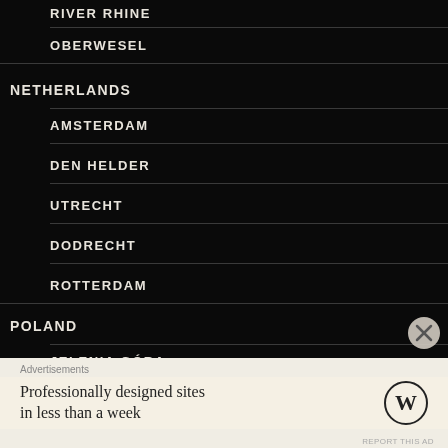RIVER RHINE
OBERWESEL
NETHERLANDS
AMSTERDAM
DEN HELDER
UTRECHT
DODRECHT
ROTTERDAM
POLAND
JELENIA GÓRA
Advertisements
Professionally designed sites in less than a week